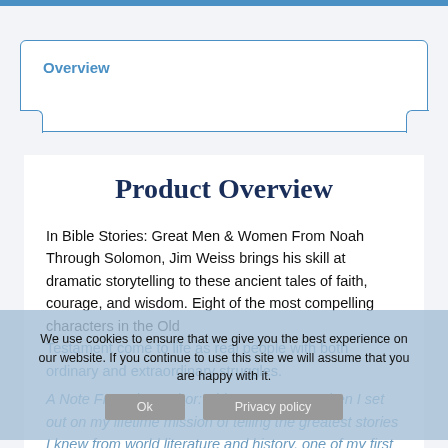Overview
Product Overview
In Bible Stories: Great Men & Women From Noah Through Solomon, Jim Weiss brings his skill at dramatic storytelling to these ancient tales of faith, courage, and wisdom. Eight of the most compelling characters in the Old Testament come to life as real people with both ordinary and extraordinary struggles.
A Note From the Author: Thirty years ago, when I set out on my lifetime mission of telling the greatest stories I knew from world literature and history, one of my first recordings was Tales from the Old Testament...